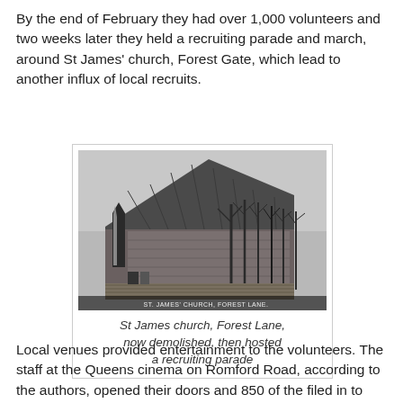By the end of February they had over 1,000 volunteers and two weeks later they held a recruiting parade and march, around St James' church, Forest Gate, which lead to another influx of local recruits.
[Figure (photo): Black and white photograph of St James church, Forest Lane, a stone church with a steep roof and bare trees beside it. Caption text at bottom of photo reads: ST. JAMES' CHURCH, FOREST LANE.]
St James church, Forest Lane, now demolished, then hosted a recruiting parade
Local venues provided entertainment to the volunteers. The staff at the Queens cinema on Romford Road, according to the authors, opened their doors and 850 of the filed in to